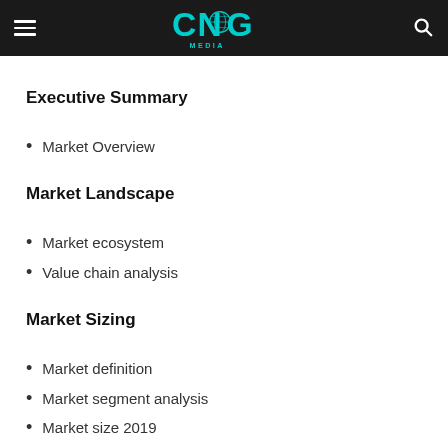CNG Media
Executive Summary
Market Overview
Market Landscape
Market ecosystem
Value chain analysis
Market Sizing
Market definition
Market segment analysis
Market size 2019
Market outlook Forecast for 2019 – 2024